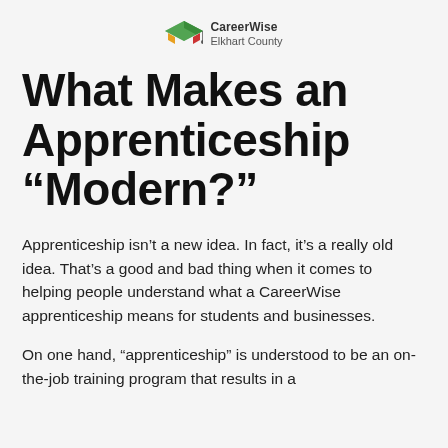[Figure (logo): CareerWise Elkhart County logo with graduation cap icon in green, gold, and red colors, and text 'CareerWise Elkhart County']
What Makes an Apprenticeship “Modern?”
Apprenticeship isn’t a new idea. In fact, it’s a really old idea. That’s a good and bad thing when it comes to helping people understand what a CareerWise apprenticeship means for students and businesses.
On one hand, “apprenticeship” is understood to be an on-the-job training program that results in a